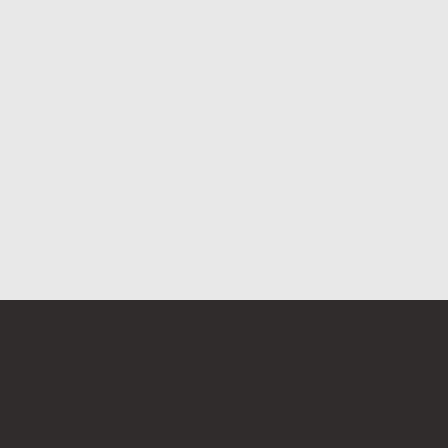[Figure (illustration): Light gray blank area filling the top portion of the page, approximately two-thirds of the page height.]
THE PHANTOMS